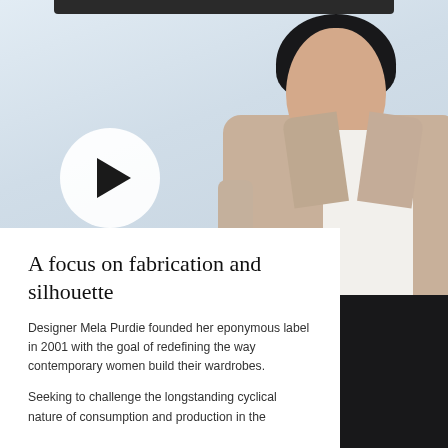[Figure (photo): Fashion photograph of a woman with dark hair wearing a beige trench coat over a white shirt with black pants, posed against a light blue-grey background. A circular white play button overlay appears on the left side of the image.]
A focus on fabrication and silhouette
Designer Mela Purdie founded her eponymous label in 2001 with the goal of redefining the way contemporary women build their wardrobes.
Seeking to challenge the longstanding cyclical nature of consumption and production in the